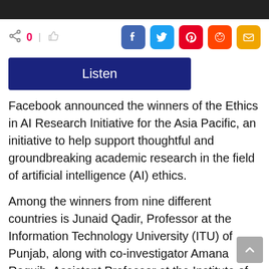[Figure (screenshot): Dark/black image bar at the top of the page]
0
Listen
Facebook announced the winners of the Ethics in AI Research Initiative for the Asia Pacific, an initiative to help support thoughtful and groundbreaking academic research in the field of artificial intelligence (AI) ethics.
Among the winners from nine different countries is Junaid Qadir, Professor at the Information Technology University (ITU) of Punjab, along with co-investigator Amana Raquib, Assistant Professor at the Institute of Business...